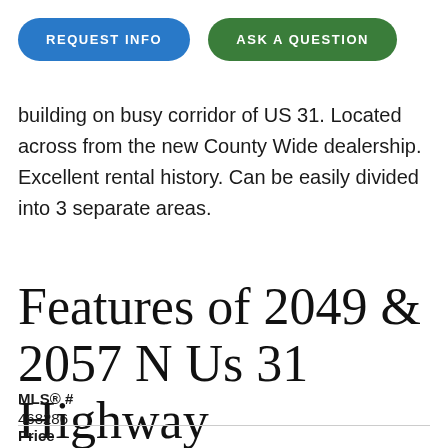[Figure (other): Two pill-shaped buttons: 'REQUEST INFO' (blue) and 'ASK A QUESTION' (green)]
building on busy corridor of US 31. Located across from the new County Wide dealership. Excellent rental history. Can be easily divided into 3 separate areas.
Features of 2049 & 2057 N Us 31 Highway
MLS® #
468286
Price